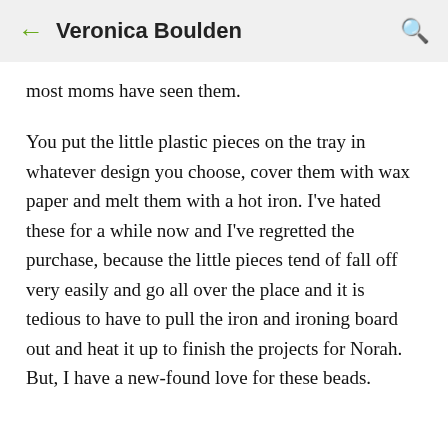← Veronica Boulden 🔍
most moms have seen them.
You put the little plastic pieces on the tray in whatever design you choose, cover them with wax paper and melt them with a hot iron. I've hated these for a while now and I've regretted the purchase, because the little pieces tend of fall off very easily and go all over the place and it is tedious to have to pull the iron and ironing board out and heat it up to finish the projects for Norah. But, I have a new-found love for these beads.